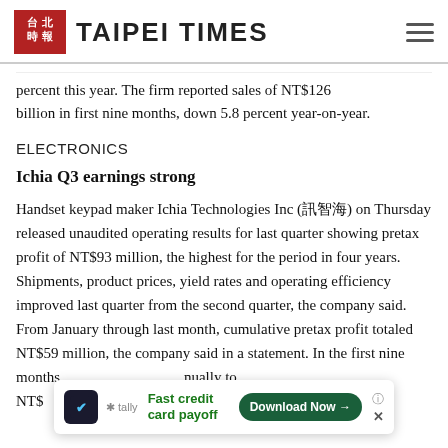TAIPEI TIMES
percent this year. The firm reported sales of NT$126 billion in first nine months, down 5.8 percent year-on-year.
ELECTRONICS
Ichia Q3 earnings strong
Handset keypad maker Ichia Technologies Inc (訊智海) on Thursday released unaudited operating results for last quarter showing pretax profit of NT$93 million, the highest for the period in four years. Shipments, product prices, yield rates and operating efficiency improved last quarter from the second quarter, the company said. From January through last month, cumulative pretax profit totaled NT$59 million, the company said in a statement. In the first nine months annually to NT$ id operating
[Figure (other): Advertisement overlay: Tally app - Fast credit card payoff, Download Now button]